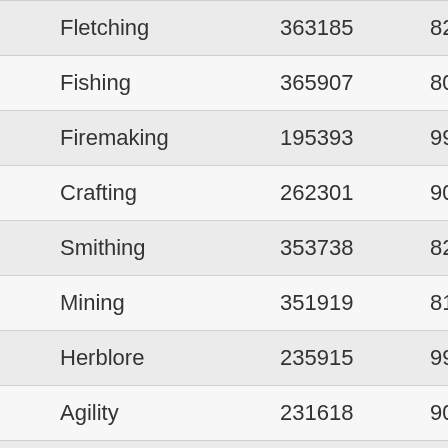| Skill | XP | Level |  |
| --- | --- | --- | --- |
| Fletching | 363185 | 82 | 2 |
| Fishing | 365907 | 80 | 1 |
| Firemaking | 195393 | 99 | 1 |
| Crafting | 262301 | 90 | 5 |
| Smithing | 353738 | 82 | 2 |
| Mining | 351919 | 81 | 2 |
| Herblore | 235915 | 99 | 1 |
| Agility | 231618 | 90 | 5 |
| Thieving | 237091 | 85 | 3 |